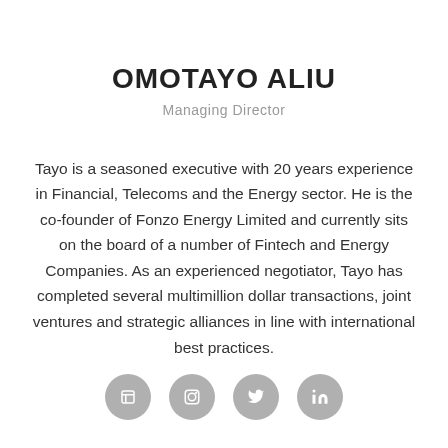OMOTAYO ALIU
Managing Director
Tayo is a seasoned executive with 20 years experience in Financial, Telecoms and the Energy sector. He is the co-founder of Fonzo Energy Limited and currently sits on the board of a number of Fintech and Energy Companies. As an experienced negotiator, Tayo has completed several multimillion dollar transactions, joint ventures and strategic alliances in line with international best practices.
[Figure (other): Four circular grey social media icon buttons in a horizontal row at the bottom of the page]